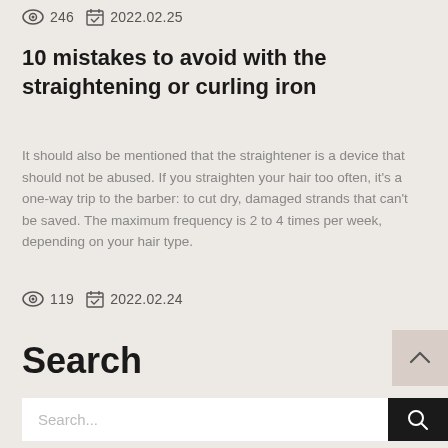246   2022.02.25
10 mistakes to avoid with the straightening or curling iron
It should also be mentioned that the straightener is a device that should not be abused. If you straighten your hair too often, it's a one-way trip to the barber: to cut dry, damaged strands that can't be saved. The maximum frequency is 2 to 4 times per week, depending on your hair type.
119   2022.02.24
Search